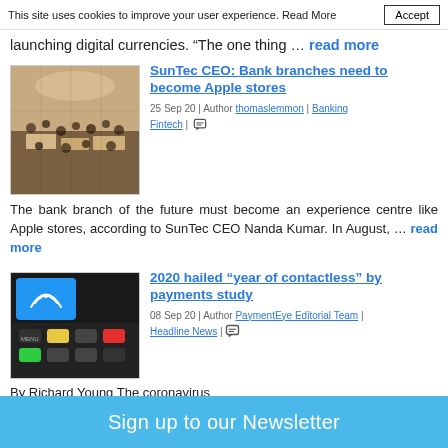This site uses cookies to improve your user experience. Read More  Accept
launching digital currencies. “The one thing … read more
SunTec CEO: Bank branches need to become Apple stores
25 Sep 20 | Author thomaslemmon | Banking Fintech |
[Figure (photo): Aerial view of crowded Apple store interior with people browsing products]
The bank branch of the future must become an experience centre like Apple stores, according to SunTec CEO Nanda Kumar. In August, … read more
2020 hailed “year of contactless” by payments study
08 Sep 20 | Author PaymentEye Editorial Team | Headline News |
[Figure (photo): Blue contactless payment card on top of a payment terminal with colorful keys]
By Richard Young The coronavirus
Sign up to our Newsletter